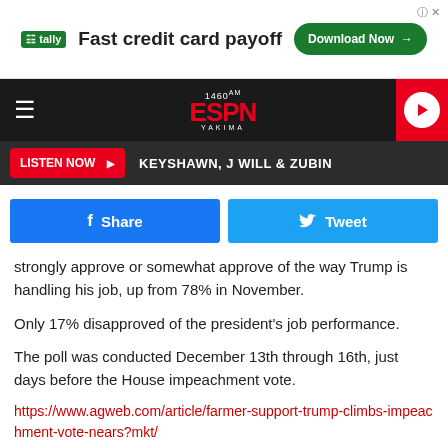[Figure (screenshot): Tally ad banner: Fast credit card payoff with Download Now button]
[Figure (logo): 1460 AM ESPN Yakima navigation bar with hamburger menu and play button]
[Figure (screenshot): Listen Now bar showing KEYSHAWN, J WILL & ZUBIN]
[Figure (screenshot): Facebook Share and Twitter Tweet social buttons]
strongly approve or somewhat approve of the way Trump is handling his job, up from 78% in November.
Only 17% disapproved of the president's job performance.
The poll was conducted December 13th through 16th, just days before the House impeachment vote.
https://www.agweb.com/article/farmer-support-trump-climbs-impeachment-vote-nears?mkt/